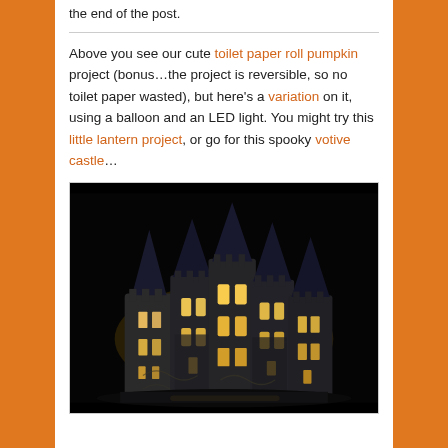the end of the post.
Above you see our cute toilet paper roll pumpkin project (bonus…the project is reversible, so no toilet paper wasted), but here's a variation on it, using a balloon and an LED light. You might try this little lantern project, or go for this spooky votive castle…
[Figure (photo): Photo of a spooky illuminated votive castle craft made from paper or ceramic, showing multiple castle towers with glowing yellow windows against a dark black background. The castle has detailed gothic architectural elements including arched windows, battlements, and pointed spires.]